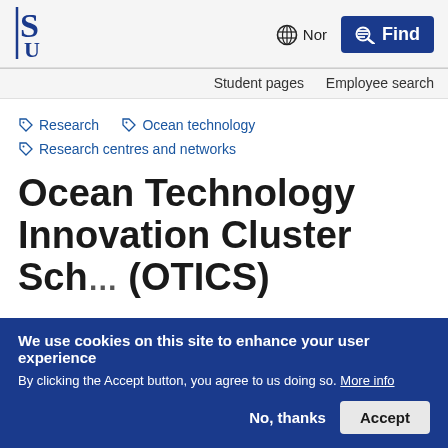[Figure (logo): University of Stavanger (UiS) logo - stylized S and U letters in dark blue]
Nor   Find
Student pages   Employee search
Research
Ocean technology
Research centres and networks
Ocean Technology Innovation Cluster Scheme (OTICS)
We use cookies on this site to enhance your user experience
By clicking the Accept button, you agree to us doing so. More info
No, thanks   Accept